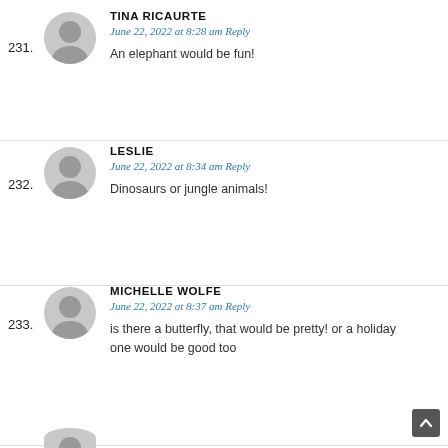231. TINA RICAURTE — June 22, 2022 at 8:28 am Reply — An elephant would be fun!
232. LESLIE — June 22, 2022 at 8:34 am Reply — Dinosaurs or jungle animals!
233. MICHELLE WOLFE — June 22, 2022 at 8:37 am Reply — is there a butterfly, that would be pretty! or a holiday one would be good too